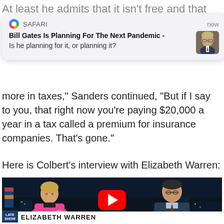At least he admits that it isn't free and that Americans
[Figure (screenshot): Safari browser notification overlay reading: 'Bill Gates Is Planning For The Next Pandemic - Is he planning for it, or planning it?' with a thumbnail photo of Bill Gates. Timestamp says 'now'.]
more in taxes," Sanders continued, "But if I say to you, that right now you're paying $20,000 a year in a tax called a premium for insurance companies. That's gone."
Here is Colbert's interview with Elizabeth Warren:
[Figure (screenshot): YouTube video thumbnail showing Elizabeth Warren in a pink jacket and Stephen Colbert in a dark suit on The Late Show set, with a red YouTube play button in the center. The lower third shows 'LATE SHOW' logo and 'ELIZABETH WARREN' text.]